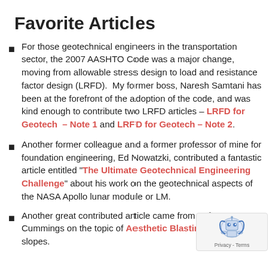Favorite Articles
For those geotechnical engineers in the transportation sector, the 2007 AASHTO Code was a major change, moving from allowable stress design to load and resistance factor design (LRFD).  My former boss, Naresh Samtani has been at the forefront of the adoption of the code, and was kind enough to contribute two LRFD articles – LRFD for Geotech – Note 1 and LRFD for Geotech – Note 2.
Another former colleague and a former professor of mine for foundation engineering, Ed Nowatzki, contributed a fantastic article entitled "The Ultimate Geotechnical Engineering Challenge" about his work on the geotechnical aspects of the NASA Apollo lunar module or LM.
Another great contributed article came from Robert Cummings on the topic of Aesthetic Blasting for hi... slopes.
[Figure (other): reCAPTCHA badge showing robot icon with Privacy and Terms text]